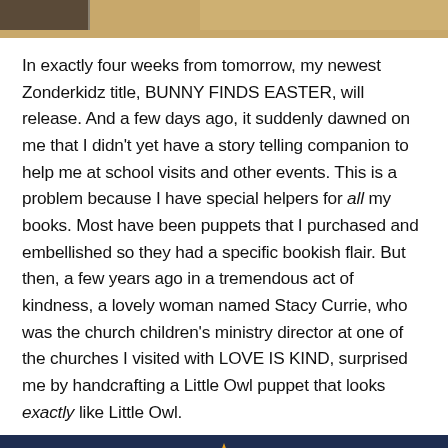[Figure (photo): Top portion of an image showing what appears to be a person or puppet, partially cropped, with warm golden/brown tones]
In exactly four weeks from tomorrow, my newest Zonderkidz title, BUNNY FINDS EASTER, will release. And a few days ago, it suddenly dawned on me that I didn't yet have a story telling companion to help me at school visits and other events. This is a problem because I have special helpers for all my books. Most have been puppets that I purchased and embellished so they had a specific bookish flair. But then, a few years ago in a tremendous act of kindness, a lovely woman named Stacy Currie, who was the church children's ministry director at one of the churches I visited with LOVE IS KIND, surprised me by handcrafting a Little Owl puppet that looks exactly like Little Owl.
[Figure (photo): Bottom portion of an image showing a dark blue patterned background with a yellow star shape visible]